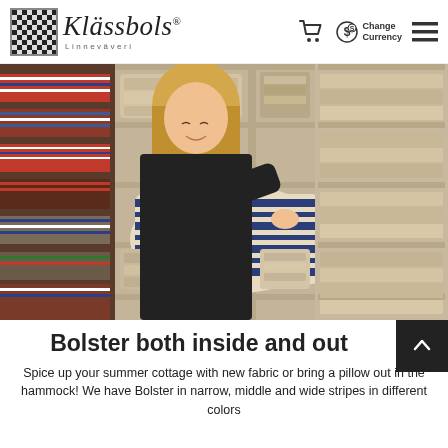Klässbols Linneväveri — Change Currency
[Figure (photo): A smiling blonde woman in a black jacket selects a striped pillow from shelves stocked with bolsters and cushions in various striped fabric patterns, with rolls of fabric visible on the left.]
Bolster both inside and out
Spice up your summer cottage with new fabric or bring a pillow out in the hammock! We have Bolster in narrow, middle and wide stripes in different colors